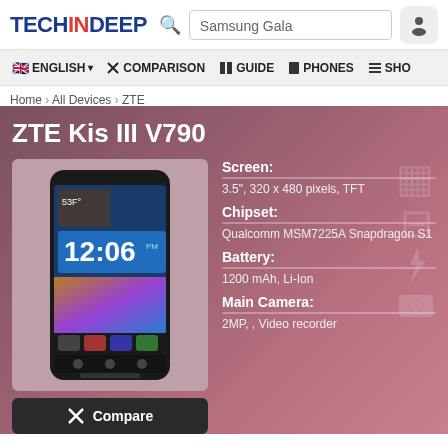TECHINDEEP  Samsung Gala
ENGLISH  COMPARISON  GUIDE  PHONES  SHO
Home › All Devices › ZTE
ZTE Kis III V790
[Figure (photo): ZTE Kis III V790 smartphone front view showing Android home screen with time 12:06]
Compare
Screen:
3.5", 320 x 480 pixels, TFT
Chipset:
Qualcomm MSM7225A Snapdragon S1
Battery:
1200 mAh, Li-Ion
Main Camera:
2MP, , Video recorder